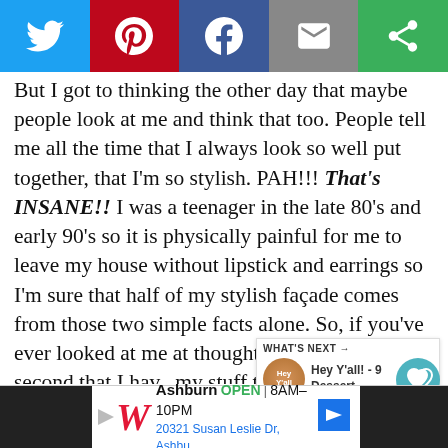[Figure (other): Social media share bar with Twitter, Pinterest, Facebook, Email, and a circular share button on green background]
But I got to thinking the other day that maybe people look at me and think that too. People tell me all the time that I always look so well put together, that I'm so stylish. PAH!!! That's INSANE!! I was a teenager in the late 80's and early 90's so it is physically painful for me to leave my house without lipstick and earrings so I'm sure that half of my stylish façade comes from those two simple facts alone. So, if you've ever looked at me at thought even for one second that I have my stuff together in the fashion-slash-beauty department, I've got to tell you what my crisis is.
[Figure (infographic): WHAT'S NEXT callout box showing Hey Y'all! - 9 Dessert... with a circular food thumbnail]
[Figure (other): Walgreens advertisement: Ashburn OPEN 8AM-10PM, 20321 Susan Leslie Dr, Ashbu...]